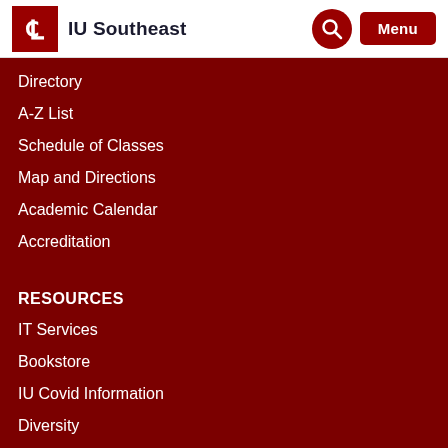[Figure (logo): IU Southeast logo with crimson torch symbol and text 'IU Southeast']
Directory
A-Z List
Schedule of Classes
Map and Directions
Academic Calendar
Accreditation
RESOURCES
IT Services
Bookstore
IU Covid Information
Diversity
Non-Discrimination Notice
University Police
Required Disclosures
Bad Weather Policy